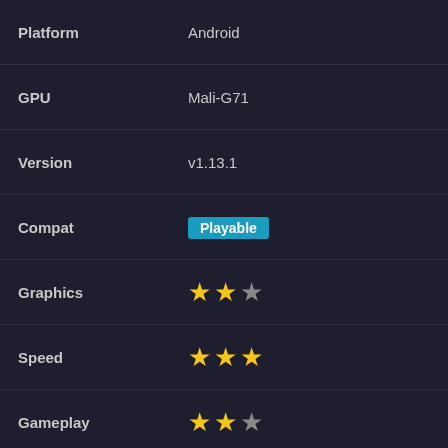| Field | Value |
| --- | --- |
| Platform | Android |
| GPU | Mali-G71 |
| Version | v1.13.1 |
| Compat | Playable |
| Graphics | ★★☆ (2/3) |
| Speed | ★★★ (3/3) |
| Gameplay | ★★☆ (2/3) |
Replacement disabled
Disable Slow Effects
Lazy Texture Caching
Vertex Cache
Force Max FPS Off
1x PSP Res
CRC 5edc3ae2
| Field | Value |
| --- | --- |
| Date | 2022-08-16 |
| Platform | Android |
| GPU | PowerVR Rogue GE8320 |